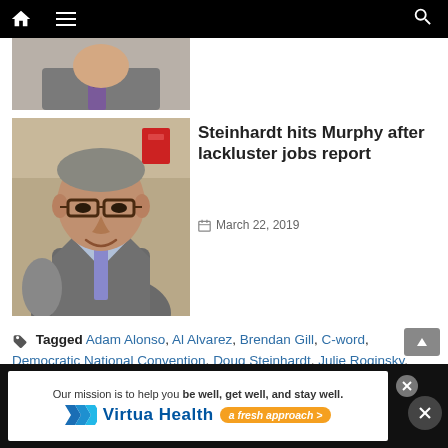Navigation bar with home, menu, and search icons
[Figure (photo): Partial photo of a person in suit with purple tie, cropped at top]
Steinhardt hits Murphy after lackluster jobs report
March 22, 2019
[Figure (photo): Photo of a middle-aged man with glasses wearing a grey suit and light blue shirt, smiling]
Tagged Adam Alonso, Al Alvarez, Brendan Gill, C-word, Democratic National Convention, Doug Steinhardt, Julie Roginsky, Katie Brennan, Phil Murphy
[Figure (screenshot): Virtua Health advertisement banner: 'Our mission is to help you be well, get well, and stay well.' with Virtua Health logo and 'a fresh approach' tagline]